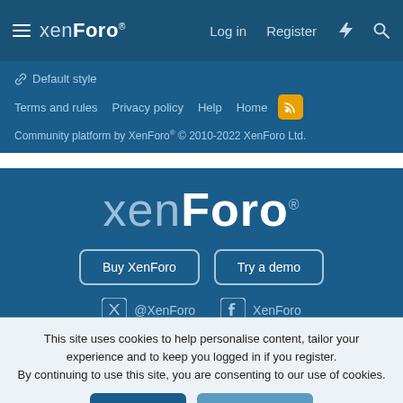xenForo® Log in Register
🔗 Default style
Terms and rules   Privacy policy   Help   Home
Community platform by XenForo® © 2010-2022 XenForo Ltd.
[Figure (logo): XenForo logo: 'xen' in light weight and 'Foro' in bold white, with registered trademark symbol]
Buy XenForo   Try a demo
@XenForo   XenForo
This site uses cookies to help personalise content, tailor your experience and to keep you logged in if you register.
By continuing to use this site, you are consenting to our use of cookies.
✓ Accept   Learn more...